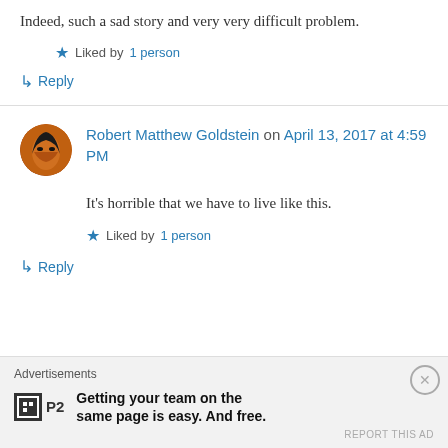Indeed, such a sad story and very very difficult problem.
★ Liked by 1 person
↳ Reply
Robert Matthew Goldstein on April 13, 2017 at 4:59 PM
It's horrible that we have to live like this.
★ Liked by 1 person
↳ Reply
Advertisements
Getting your team on the same page is easy. And free.